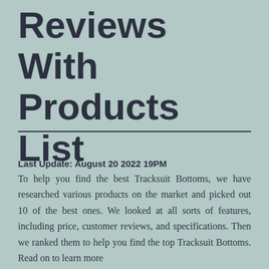Reviews With Products List
Last Update: August 20 2022 19PM
To help you find the best Tracksuit Bottoms, we have researched various products on the market and picked out 10 of the best ones. We looked at all sorts of features, including price, customer reviews, and specifications. Then we ranked them to help you find the top Tracksuit Bottoms. Read on to learn more